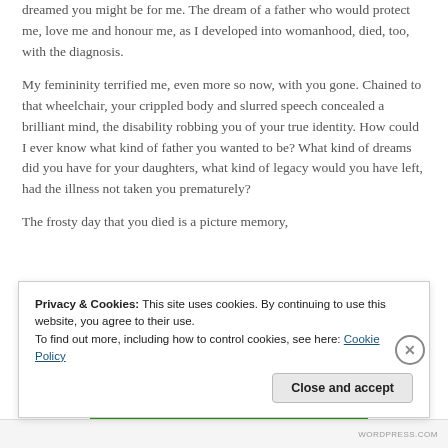dreamed you might be for me. The dream of a father who would protect me, love me and honour me, as I developed into womanhood, died, too, with the diagnosis.
My femininity terrified me, even more so now, with you gone. Chained to that wheelchair, your crippled body and slurred speech concealed a brilliant mind, the disability robbing you of your true identity. How could I ever know what kind of father you wanted to be? What kind of dreams did you have for your daughters, what kind of legacy would you have left, had the illness not taken you prematurely?
The frosty day that you died is a picture memory,
Privacy & Cookies: This site uses cookies. By continuing to use this website, you agree to their use.
To find out more, including how to control cookies, see here: Cookie Policy
Close and accept